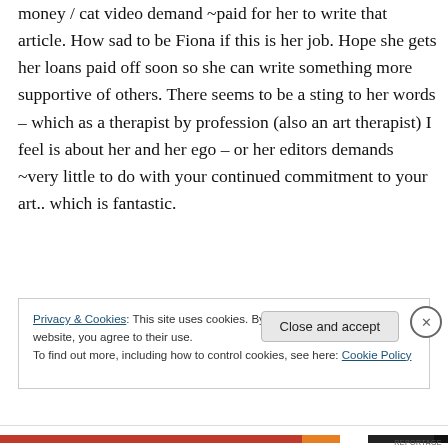money / cat video demand ~paid for her to write that article. How sad to be Fiona if this is her job. Hope she gets her loans paid off soon so she can write something more supportive of others. There seems to be a sting to her words – which as a therapist by profession (also an art therapist) I feel is about her and her ego – or her editors demands ~very little to do with your continued commitment to your art.. which is fantastic.
Privacy & Cookies: This site uses cookies. By continuing to use this website, you agree to their use.
To find out more, including how to control cookies, see here: Cookie Policy